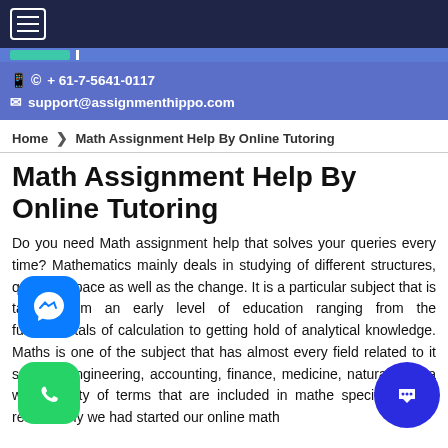≡ (navigation hamburger menu)
📱 WhatsApp + 61-7-5641-0117
✉ support@assignmenthippo.com
Home › Math Assignment Help By Online Tutoring
Math Assignment Help By Online Tutoring
Do you need Math assignment help that solves your queries every time? Mathematics mainly deals in studying of different structures, quantity, space as well as the change. It is a particular subject that is taught from an early level of education ranging from the fundamentals of calculation to getting hold of analytical knowledge. Maths is one of the subject that has almost every field related to it such as engineering, accounting, finance, medicine, natural, and a wide variety of terms that are included in mathematics. That's specifically the reason why we had started our online math